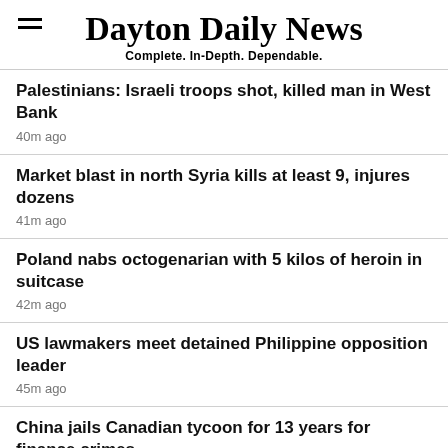Dayton Daily News — Complete. In-Depth. Dependable.
Palestinians: Israeli troops shot, killed man in West Bank
40m ago
Market blast in north Syria kills at least 9, injures dozens
41m ago
Poland nabs octogenarian with 5 kilos of heroin in suitcase
42m ago
US lawmakers meet detained Philippine opposition leader
45m ago
China jails Canadian tycoon for 13 years for finance crimes
49m ago